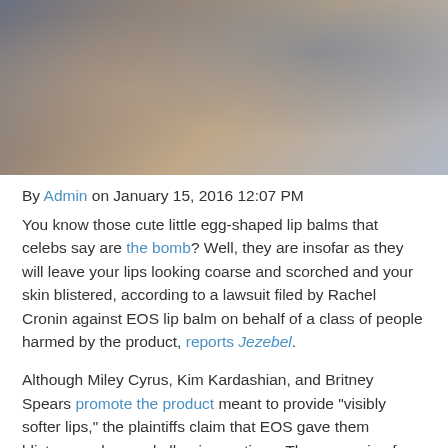[Figure (photo): A person handling what appears to be a book or tablet, photographed from above at an angle, blurred background with warm and cool tones]
By Admin on January 15, 2016 12:07 PM
You know those cute little egg-shaped lip balms that celebs say are the bomb? Well, they are insofar as they will leave your lips looking coarse and scorched and your skin blistered, according to a lawsuit filed by Rachel Cronin against EOS lip balm on behalf of a class of people harmed by the product, reports Jezebel.
Although Miley Cyrus, Kim Kardashian, and Britney Spears promote the product meant to provide "visibly softer lips," the plaintiffs claim that EOS gave them blisters, rashes and allergic reactions. They are suing for compensatory damages and injunctive relief, hoping the company will have to change its claims in advertijsng.